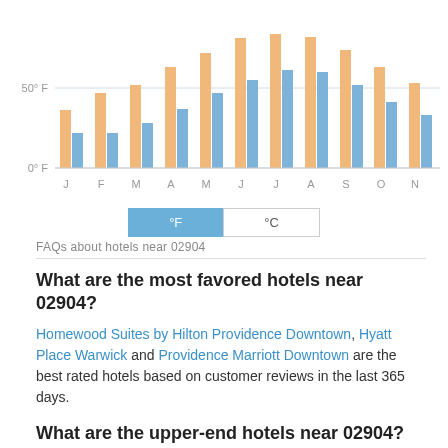[Figure (grouped-bar-chart): Monthly temperatures near 02904]
°F | °C toggle buttons
FAQs about hotels near 02904
What are the most favored hotels near 02904?
Homewood Suites by Hilton Providence Downtown, Hyatt Place Warwick and Providence Marriott Downtown are the best rated hotels based on customer reviews in the last 365 days.
What are the upper-end hotels near 02904?